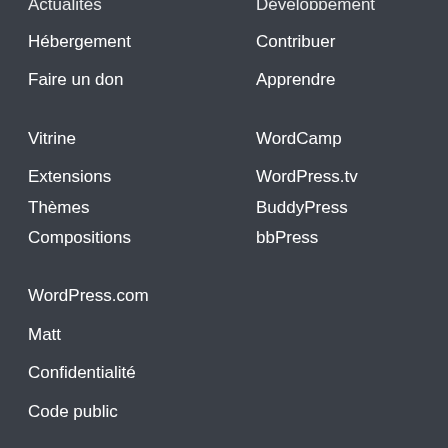Actualités
Développement
Hébergement
Contribuer
Faire un don
Apprendre
Vitrine
WordCamp
Extensions
WordPress.tv
Thèmes
BuddyPress
Compositions
bbPress
WordPress.com
Matt
Confidentialité
Code public